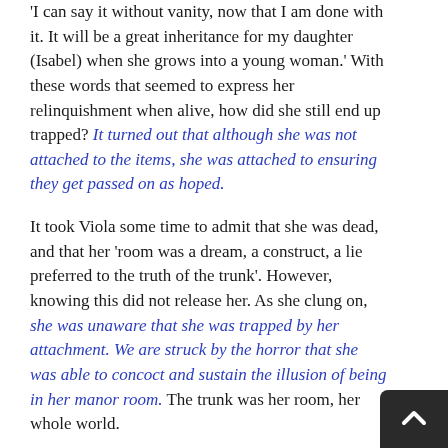'I can say it without vanity, now that I am done with it. It will be a great inheritance for my daughter (Isabel) when she grows into a young woman.' With these words that seemed to express her relinquishment when alive, how did she still end up trapped? It turned out that although she was not attached to the items, she was attached to ensuring they get passed on as hoped.
It took Viola some time to admit that she was dead, and that her 'room was a dream, a construct, a lie preferred to the truth of the trunk'. However, knowing this did not release her. As she clung on, she was unaware that she was trapped by her attachment. We are struck by the horror that she was able to concoct and sustain the illusion of being in her manor room. The trunk was her room, her whole world.
To her, the end of this 'purgatory' would be when the door (which is the lid of the trunk) would be opened by her daughter to claim her reward. This was Viola's anticipated reward for her waiting. Her whole consciousness was